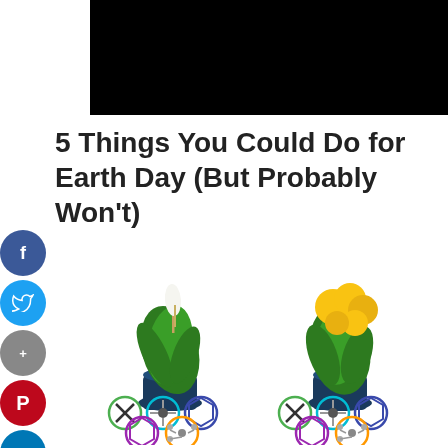[Figure (photo): Black rectangle banner image at top of page]
5 Things You Could Do for Earth Day (But Probably Won't)
[Figure (infographic): Two illustrated potted plants side by side: a Peace Lily (green plant with white flower in dark blue pot) and a Florist's plant (green plant with yellow flowers in dark blue pot), each with a row of chemical/molecular icons below them. Labels read PEACE LILY and FLORIST'S respectively.]
[Figure (infographic): Social media share buttons on left side: Facebook (f), Twitter (bird), Google+ (circle), Pinterest (p), LinkedIn (in)]